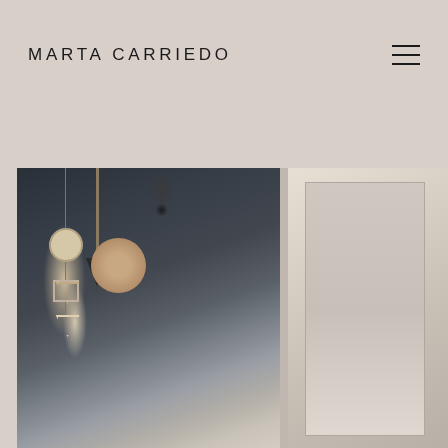MARTA CARRIEDO
[Figure (photo): Two side-by-side photos: left image shows a woman with brown hair from behind in a stylish interior space with dark brick wall, pendant geometric lights (circle and triangle ornaments hanging from strings), and a black conical wall sconce lamp; right image shows a bright retail/boutique interior with white shelving and clothing racks]